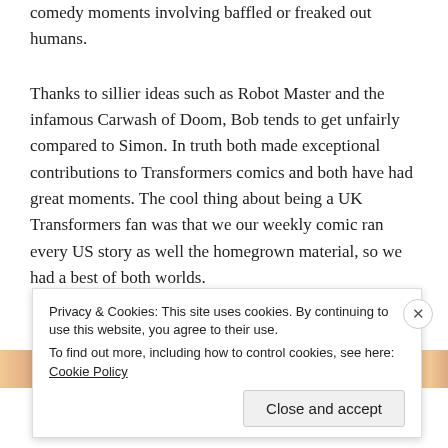comedy moments involving baffled or freaked out humans.
Thanks to sillier ideas such as Robot Master and the infamous Carwash of Doom, Bob tends to get unfairly compared to Simon. In truth both made exceptional contributions to Transformers comics and both have had great moments. The cool thing about being a UK Transformers fan was that we our weekly comic ran every US story as well the homegrown material, so we had a best of both worlds.
[Figure (photo): Partial view of a colorful image strip with orange and brown tones, partially obscured by a cookie consent banner.]
Privacy & Cookies: This site uses cookies. By continuing to use this website, you agree to their use.
To find out more, including how to control cookies, see here: Cookie Policy